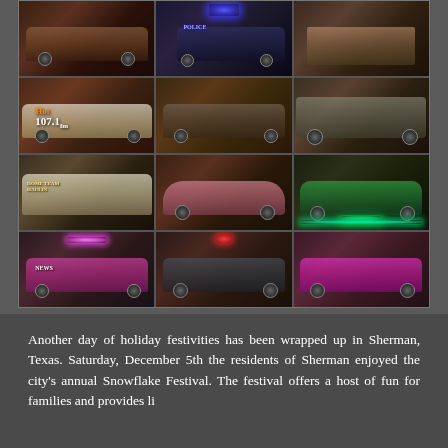[Figure (photo): A 3x4 grid photo collage of parade vehicles at night including branded trucks, police car, a Volkswagen Beetle, an FJ Cruiser, a news vehicle, and colorfully lit vehicles at what appears to be the Sherman Texas Snowflake Festival parade.]
Another day of holiday festivities has been wrapped up in Sherman, Texas. Saturday, December 5th the residents of Sherman enjoyed the city's annual Snowflake Festival. The festival offers a host of fun for families and provides li...